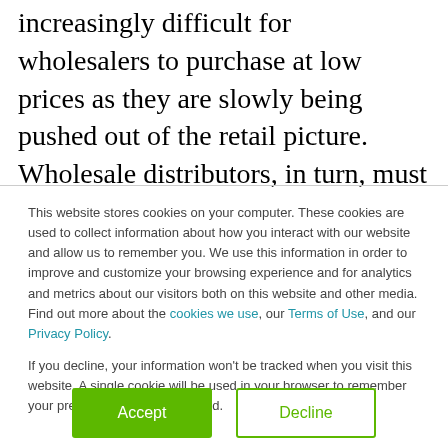increasingly difficult for wholesalers to purchase at low prices as they are slowly being pushed out of the retail picture. Wholesale distributors, in turn, must respond by implementing necessary changes to their business operations, such as capitalizing on the increased demand for health products by
This website stores cookies on your computer. These cookies are used to collect information about how you interact with our website and allow us to remember you. We use this information in order to improve and customize your browsing experience and for analytics and metrics about our visitors both on this website and other media. Find out more about the cookies we use, our Terms of Use, and our Privacy Policy.
If you decline, your information won't be tracked when you visit this website. A single cookie will be used in your browser to remember your preference not to be tracked.